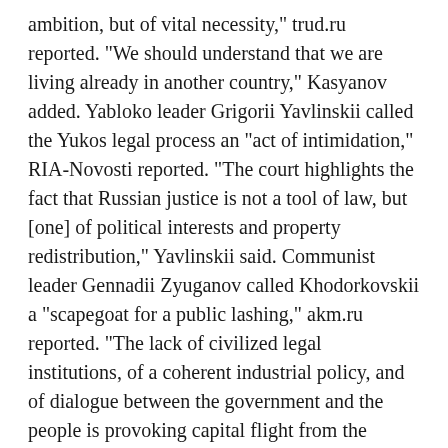ambition, but of vital necessity," trud.ru reported. "We should understand that we are living already in another country," Kasyanov added. Yabloko leader Grigorii Yavlinskii called the Yukos legal process an "act of intimidation," RIA-Novosti reported. "The court highlights the fact that Russian justice is not a tool of law, but [one] of political interests and property redistribution," Yavlinskii said. Communist leader Gennadii Zyuganov called Khodorkovskii a "scapegoat for a public lashing," akm.ru reported. "The lack of civilized legal institutions, of a coherent industrial policy, and of dialogue between the government and the people is provoking capital flight from the country," Zyuganov said. VY
...BUT PRO-KREMLIN LAWMAKERS AND SUPPORTERS PRAISE VERDICT
Deputy Duma Speaker and Liberal Democratic Party